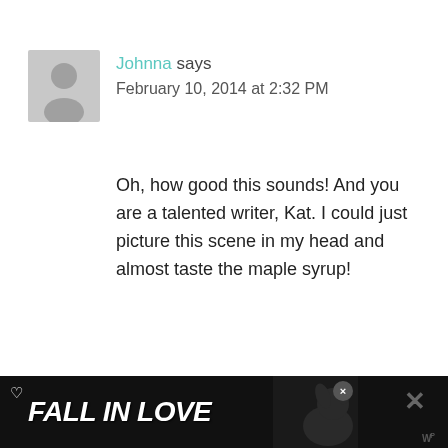[Figure (illustration): Gray silhouette avatar of a person (default user icon)]
Johnna says
February 10, 2014 at 2:32 PM
Oh, how good this sounds! And you are a talented writer, Kat. I could just picture this scene in my head and almost taste the maple syrup!
REPLY
[Figure (illustration): Teal circular heart/like button widget with count 2 and share button]
TRACKBACKS
[Figure (screenshot): Advertisement banner reading FALL IN LOVE with a dog image, heart icon, and close button]